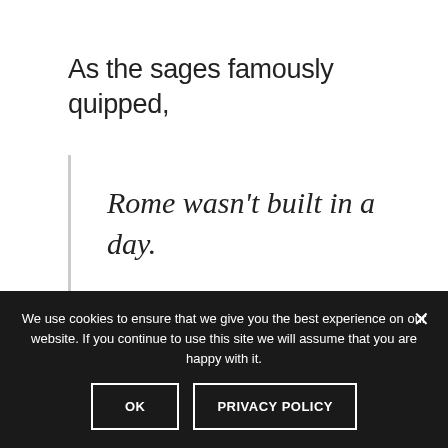As the sages famously quipped,
Rome wasn't built in a day.
In fact, what we eat has both a fundamental and a direct influence on the
We use cookies to ensure that we give you the best experience on our website. If you continue to use this site we will assume that you are happy with it.
OK
PRIVACY POLICY